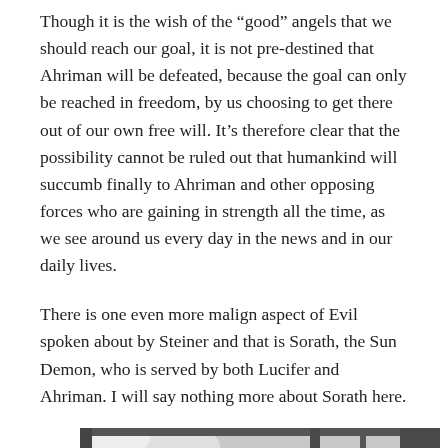Though it is the wish of the “good” angels that we should reach our goal, it is not pre-destined that Ahriman will be defeated, because the goal can only be reached in freedom, by us choosing to get there out of our own free will. It’s therefore clear that the possibility cannot be ruled out that humankind will succumb finally to Ahriman and other opposing forces who are gaining in strength all the time, as we see around us every day in the news and in our daily lives.
There is one even more malign aspect of Evil spoken about by Steiner and that is Sorath, the Sun Demon, who is served by both Lucifer and Ahriman. I will say nothing more about Sorath here.
[Figure (photo): A black and white photograph, partially visible at the bottom of the page, showing an interior scene with blurred or dark elements.]